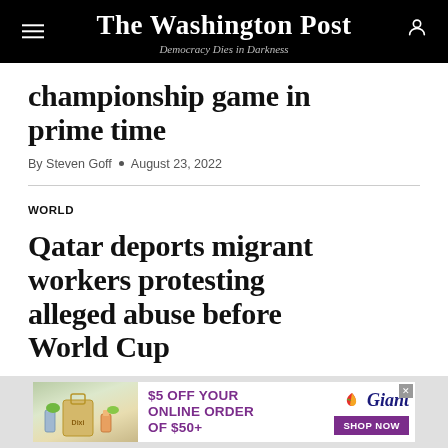The Washington Post — Democracy Dies in Darkness
championship game in prime time
By Steven Goff • August 23, 2022
WORLD
Qatar deports migrant workers protesting alleged abuse before World Cup
By Marina Lopes • August 23, 2022
[Figure (infographic): Giant grocery advertisement banner: $5 OFF YOUR ONLINE ORDER OF $50+ with Giant logo and SHOP NOW button]